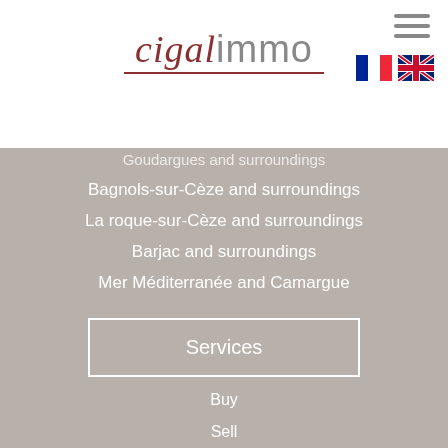[Figure (logo): Cigal Immo logo with italic red 'cigal' and grey 'immo' text, with a red underline]
Goudargues and surroundings
Bagnols-sur-Cèze and surroundings
La roque-sur-Cèze and surroundings
Barjac and surroundings
Mer Méditerranée and Camargue
Services
Buy
Sell
Estimate